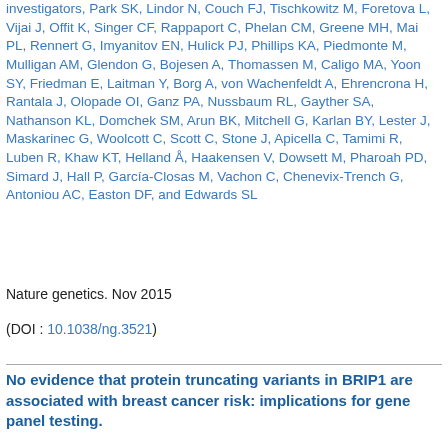investigators, Park SK, Lindor N, Couch FJ, Tischkowitz M, Foretova L, Vijai J, Offit K, Singer CF, Rappaport C, Phelan CM, Greene MH, Mai PL, Rennert G, Imyanitov EN, Hulick PJ, Phillips KA, Piedmonte M, Mulligan AM, Glendon G, Bojesen A, Thomassen M, Caligo MA, Yoon SY, Friedman E, Laitman Y, Borg A, von Wachenfeldt A, Ehrencrona H, Rantala J, Olopade OI, Ganz PA, Nussbaum RL, Gayther SA, Nathanson KL, Domchek SM, Arun BK, Mitchell G, Karlan BY, Lester J, Maskarinec G, Woolcott C, Scott C, Stone J, Apicella C, Tamimi R, Luben R, Khaw KT, Helland Å, Haakensen V, Dowsett M, Pharoah PD, Simard J, Hall P, García-Closas M, Vachon C, Chenevix-Trench G, Antoniou AC, Easton DF, and Edwards SL
Nature genetics. Nov 2015
(DOI : 10.1038/ng.3521)
No evidence that protein truncating variants in BRIP1 are associated with breast cancer risk: implications for gene panel testing.